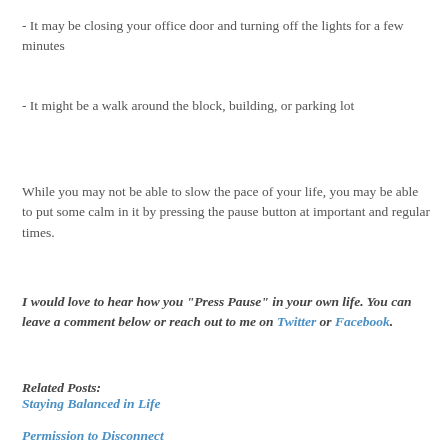- It may be closing your office door and turning off the lights for a few minutes
- It might be a walk around the block, building, or parking lot
While you may not be able to slow the pace of your life, you may be able to put some calm in it by pressing the pause button at important and regular times.
I would love to hear how you "Press Pause" in your own life. You can leave a comment below or reach out to me on Twitter or Facebook.
Related Posts:
Staying Balanced in Life
Permission to Disconnect